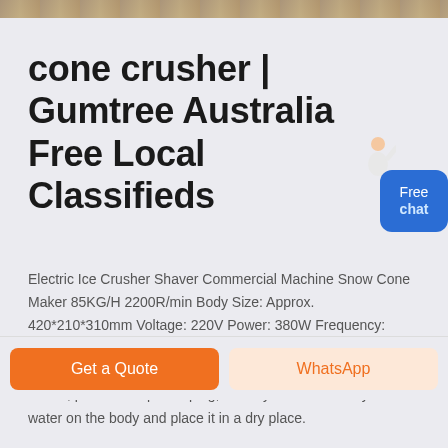[Figure (photo): Top strip showing a partial image of a machine or industrial equipment]
cone crusher | Gumtree Australia Free Local Classifieds
Electric Ice Crusher Shaver Commercial Machine Snow Cone Maker 85KG/H 2200R/min Body Size: Approx. 420*210*310mm Voltage: 220V Power: 380W Frequency: 50Hz Speed: 2200 rpm Broken ice volume: 85kg/hr Cleaning and maintenance: After the ice crusher is used, turn off the switch, pull out the power plug, and dry the towel to dry the water on the body and place it in a dry place.
Get a Quote
WhatsApp